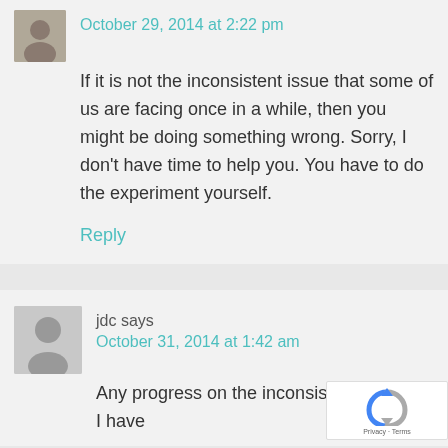[Figure (photo): Small avatar photo of a person, top of first comment block]
October 29, 2014 at 2:22 pm
If it is not the inconsistent issue that some of us are facing once in a while, then you might be doing something wrong. Sorry, I don't have time to help you. You have to do the experiment yourself.
Reply
[Figure (illustration): Generic grey avatar silhouette placeholder for jdc user]
jdc says
October 31, 2014 at 1:42 am
Any progress on the inconsistency issue? I have